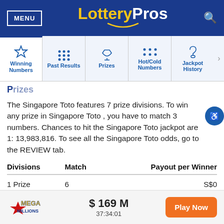MENU | LotteryPros
[Figure (screenshot): Navigation tabs: Winning Numbers, Past Results, Prizes, Hot/Cold Numbers, Jackpot History]
Prizes (partially visible heading)
The Singapore Toto features 7 prize divisions. To win any prize in Singapore Toto , you have to match 3 numbers. Chances to hit the Singapore Toto jackpot are 1: 13,983,816. To see all the Singapore Toto odds, go to the REVIEW tab.
| Divisions | Match | Payout per Winner |
| --- | --- | --- |
| 1 Prize | 6 | S$0 |
[Figure (logo): Mega Millions logo with star graphic]
$ 169 M
37:34:01
Play Now